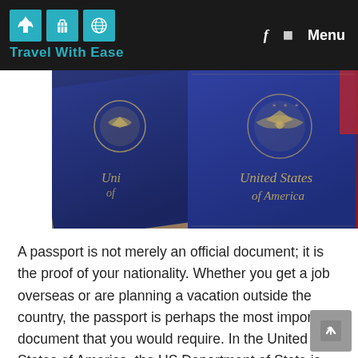Travel With Ease — Menu
[Figure (photo): Two United States of America passports with blue covers and gold embossed eagle emblems, photographed from above at an angle.]
A passport is not merely an official document; it is the proof of your nationality. Whether you get a job overseas or are planning a vacation outside the country, the passport is perhaps the most important document that you would require. In the United States of America, the US Department of State is entrusted with … Read more